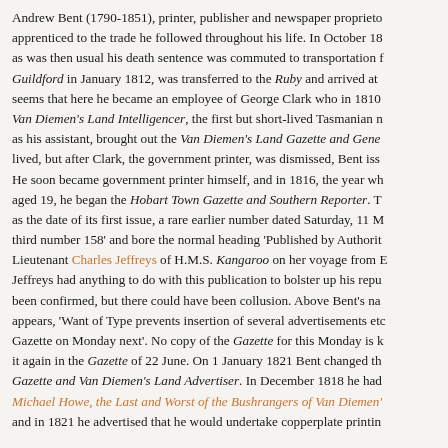Andrew Bent (1790-1851), printer, publisher and newspaper proprietor, apprenticed to the trade he followed throughout his life. In October 18[...] as was then usual his death sentence was commuted to transportation [...] Guildford in January 1812, was transferred to the Ruby and arrived at [...] seems that here he became an employee of George Clark who in 1810 [...] Van Diemen's Land Intelligencer, the first but short-lived Tasmanian n[...] as his assistant, brought out the Van Diemen's Land Gazette and Gene[...] lived, but after Clark, the government printer, was dismissed, Bent iss[...] He soon became government printer himself, and in 1816, the year wh[...] aged 19, he began the Hobart Town Gazette and Southern Reporter. T[...] as the date of its first issue, a rare earlier number dated Saturday, 11 M[...] third number 158' and bore the normal heading 'Published by Authorit[...] Lieutenant Charles Jeffreys of H.M.S. Kangaroo on her voyage from [...] Jeffreys had anything to do with this publication to bolster up his repu[...] been confirmed, but there could have been collusion. Above Bent's na[...] appears, 'Want of Type prevents insertion of several advertisements et[...] Gazette on Monday next'. No copy of the Gazette for this Monday is k[...] it again in the Gazette of 22 June. On 1 January 1821 Bent changed th[...] Gazette and Van Diemen's Land Advertiser. In December 1818 he had[...] Michael Howe, the Last and Worst of the Bushrangers of Van Diemen'[...] and in 1821 he advertised that he would undertake copperplate printin[...]